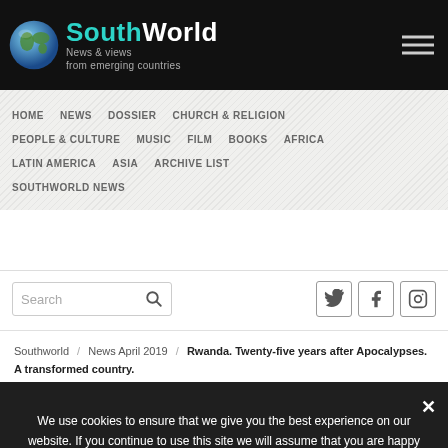SouthWorld — News & views from emerging countries
HOME
NEWS
DOSSIER
CHURCH & RELIGION
PEOPLE & CULTURE
MUSIC
FILM
BOOKS
AFRICA
LATIN AMERICA
ASIA
ARCHIVE LIST
SOUTHWORLD NEWS
Southworld / News April 2019 / Rwanda. Twenty-five years after Apocalypses. A transformed country.
We use cookies to ensure that we give you the best experience on our website. If you continue to use this site we will assume that you are happy with it.